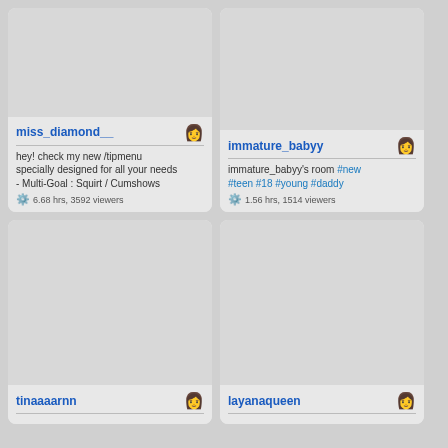[Figure (screenshot): Card for miss_diamond__ with gray thumbnail, username, description, and viewer count]
miss_diamond__
hey! check my new /tipmenu specially designed for all your needs - Multi-Goal : Squirt / Cumshows
6.68 hrs, 3592 viewers
[Figure (screenshot): Card for immature_babyy with gray thumbnail, username, description with hashtags, and viewer count]
immature_babyy
immature_babyy's room #new #teen #18 #young #daddy
1.56 hrs, 1514 viewers
[Figure (screenshot): Card for tinaaaarnn with gray thumbnail, username partially visible]
tinaaaarnn
[Figure (screenshot): Card for layanaqueen with gray thumbnail, username partially visible]
layanaqueen